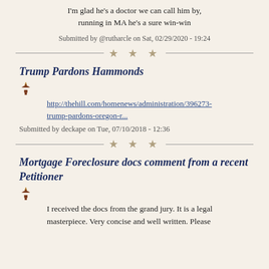I'm glad he's a doctor we can call him by, running in MA he's a sure win-win
Submitted by @rutharcle on Sat, 02/29/2020 - 19:24
Trump Pardons Hammonds
http://thehill.com/homenews/administration/396273-trump-pardons-oregon-r...
Submitted by deckape on Tue, 07/10/2018 - 12:36
Mortgage Foreclosure docs comment from a recent Petitioner
I received the docs from the grand jury. It is a legal masterpiece. Very concise and well written. Please